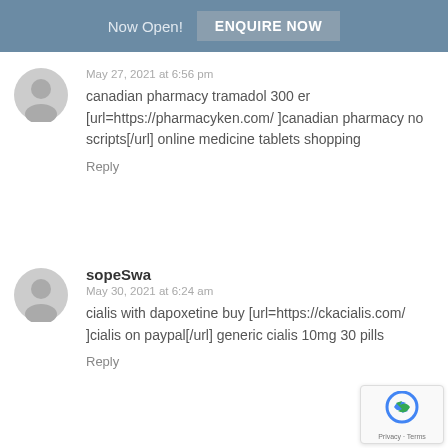Now Open! ENQUIRE NOW
May 27, 2021 at 6:56 pm
canadian pharmacy tramadol 300 er [url=https://pharmacyken.com/ ]canadian pharmacy no scripts[/url] online medicine tablets shopping
Reply
sopeSwa
May 30, 2021 at 6:24 am
cialis with dapoxetine buy [url=https://ckacialis.com/ ]cialis on paypal[/url] generic cialis 10mg 30 pills
Reply
[Figure (logo): reCAPTCHA badge with Privacy and Terms links]